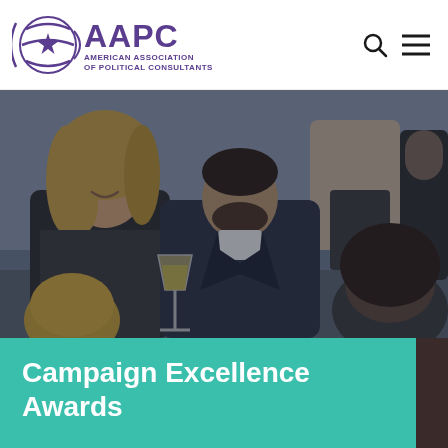AAPC - American Association of Political Consultants
[Figure (photo): Group of people at a networking event or awards reception, holding drinks and conversing. Dark overlay tint applied to the photo.]
Campaign Excellence Awards